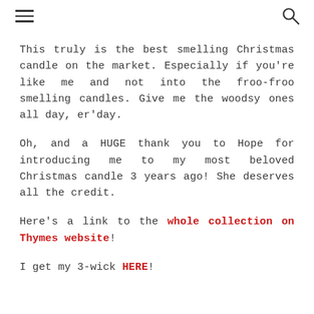[hamburger menu icon] [search icon]
This truly is the best smelling Christmas candle on the market. Especially if you're like me and not into the froo-froo smelling candles. Give me the woodsy ones all day, er'day.
Oh, and a HUGE thank you to Hope for introducing me to my most beloved Christmas candle 3 years ago! She deserves all the credit.
Here's a link to the whole collection on Thymes website!
I get my 3-wick HERE!